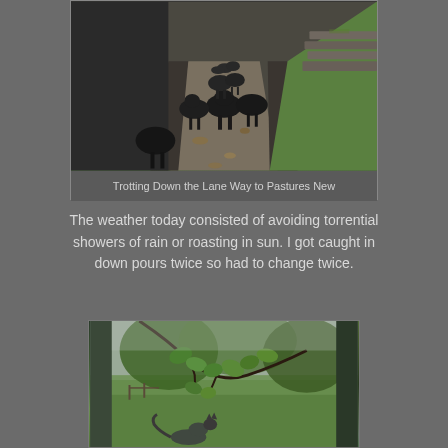[Figure (photo): Black sheep/goats trotting down a muddy country lane with green grass and stone wall on the right, viewed from behind]
Trotting Down the Lane Way to Pastures New
The weather today consisted of avoiding torrential showers of rain or roasting in sun. I got caught in down pours twice so had to change twice.
[Figure (photo): View through an open door or window showing green garden with trees, branches with leaves, and a cat visible in the lower portion]